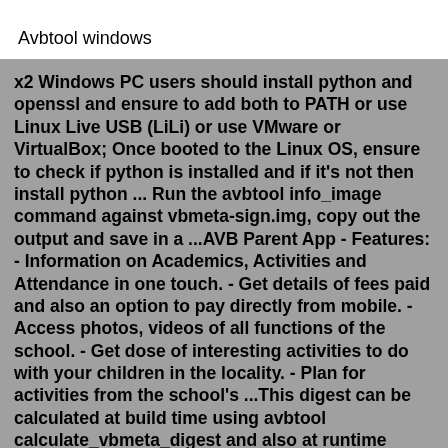Avbtool windows
x2 Windows PC users should install python and openssl and ensure to add both to PATH or use Linux Live USB (LiLi) or use VMware or VirtualBox; Once booted to the Linux OS, ensure to check if python is installed and if it's not then install python ... Run the avbtool info_image command against vbmeta-sign.img, copy out the output and save in a ...AVB Parent App - Features: - Information on Academics, Activities and Attendance in one touch. - Get details of fees paid and also an option to pay directly from mobile. - Access photos, videos of all functions of the school. - Get dose of interesting activities to do with your children in the locality. - Plan for activities from the school's ...This digest can be calculated at build time using avbtool calculate_vbmeta_digest and also at runtime using the avb_slot_verify_data_calculate_vbmeta_digest()